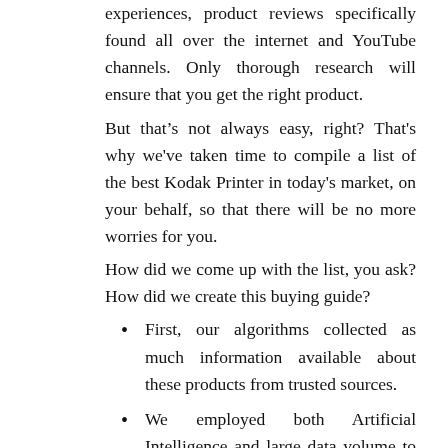experiences, product reviews specifically found all over the internet and YouTube channels. Only thorough research will ensure that you get the right product.
But that’s not always easy, right? That's why we've taken time to compile a list of the best Kodak Printer in today's market, on your behalf, so that there will be no more worries for you.
How did we come up with the list, you ask? How did we create this buying guide?
First, our algorithms collected as much information available about these products from trusted sources.
We employed both Artificial Intelligence and large data volume to validate all collected information.
Then our AI ranked them on their quality-to-price ratio using industry-standard criteria that let us pick the best Kodak Printer currently on the market!
The products we listed are ranked by...